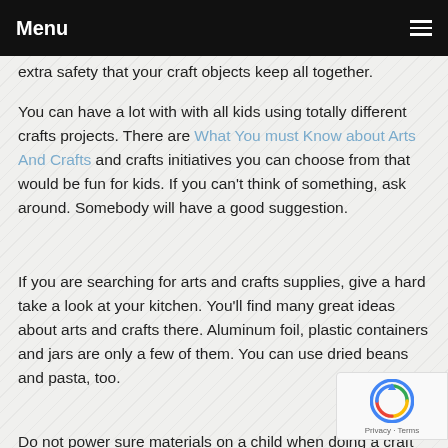Menu
extra safety that your craft objects keep all together.
You can have a lot with with all kids using totally different crafts projects. There are What You must Know about Arts And Crafts and crafts initiatives you can choose from that would be fun for kids. If you can't think of something, ask around. Somebody will have a good suggestion.
If you are searching for arts and crafts supplies, give a hard take a look at your kitchen. You'll find many great ideas about arts and crafts there. Aluminum foil, plastic containers and jars are only a few of them. You can use dried beans and pasta, too.
Do not power sure materials on a child when doing a craft